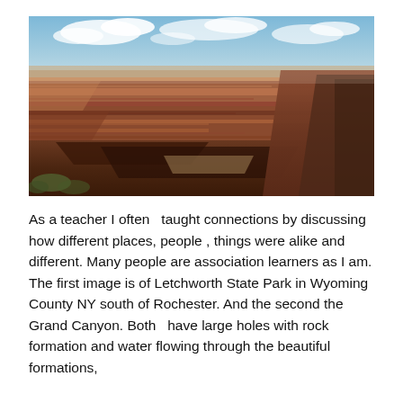[Figure (photo): Aerial/panoramic photograph of the Grand Canyon showing layered red and orange rock formations, deep canyon walls, flat plateau in the distance, and blue sky with white clouds above.]
As a teacher I often  taught connections by discussing how different places, people , things were alike and different. Many people are association learners as I am. The first image is of Letchworth State Park in Wyoming County NY south of Rochester. And the second the Grand Canyon. Both  have large holes with rock formation and water flowing through the beautiful formations,